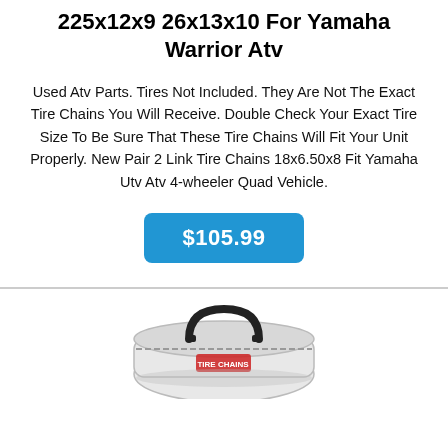225x12x9 26x13x10 For Yamaha Warrior Atv
Used Atv Parts. Tires Not Included. They Are Not The Exact Tire Chains You Will Receive. Double Check Your Exact Tire Size To Be Sure That These Tire Chains Will Fit Your Unit Properly. New Pair 2 Link Tire Chains 18x6.50x8 Fit Yamaha Utv Atv 4-wheeler Quad Vehicle.
$105.99
[Figure (photo): A bag/case for tire chains, black with white fabric, shown from slightly above angle with handles visible. Red accent logo visible on the bag.]